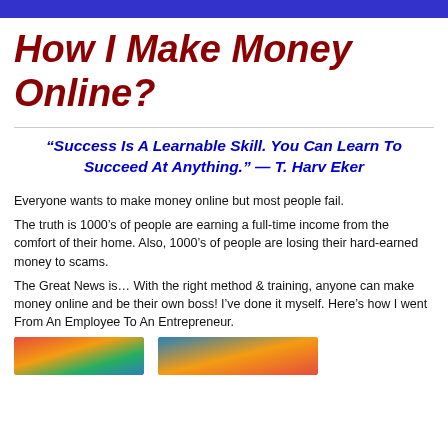How I Make Money Online?
“Success Is A Learnable Skill. You Can Learn To Succeed At Anything.” — T. Harv Eker
Everyone wants to make money online but most people fail.
The truth is 1000’s of people are earning a full-time income from the comfort of their home. Also, 1000’s of people are losing their hard-earned money to scams.
The Great News is… With the right method & training, anyone can make money online and be their own boss! I’ve done it myself. Here’s how I went From An Employee To An Entrepreneur.
[Figure (photo): Partial image visible at bottom left of page]
[Figure (photo): Partial image visible at bottom right of page]